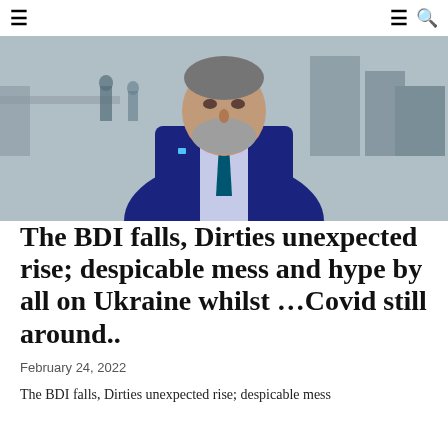≡  ≡ 🔍
[Figure (photo): A man in a dark navy suit with a blue tie and lapel pin, photographed outdoors with a bridge and buildings in the background.]
The BDI falls, Dirties unexpected rise; despicable mess and hype by all on Ukraine whilst …Covid still around..
February 24, 2022
The BDI falls, Dirties unexpected rise; despicable mess